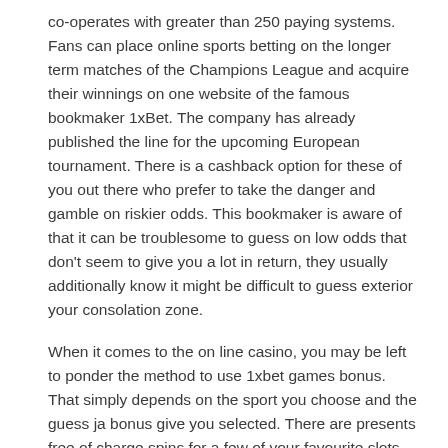co-operates with greater than 250 paying systems. Fans can place online sports betting on the longer term matches of the Champions League and acquire their winnings on one website of the famous bookmaker 1xBet. The company has already published the line for the upcoming European tournament. There is a cashback option for these of you out there who prefer to take the danger and gamble on riskier odds. This bookmaker is aware of that it can be troublesome to guess on low odds that don't seem to give you a lot in return, they usually additionally know it might be difficult to guess exterior your consolation zone.
When it comes to the on line casino, you may be left to ponder the method to use 1xbet games bonus. That simply depends on the sport you choose and the guess ja bonus give you selected. There are presents free of charge spins for a few of your favourite slots and also the stay supplier games to begin you off on the best foot.